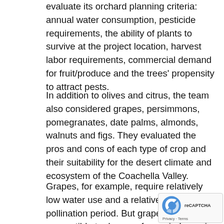evaluate its orchard planning criteria: annual water consumption, pesticide requirements, the ability of plants to survive at the project location, harvest labor requirements, commercial demand for fruit/produce and the trees' propensity to attract pests.
In addition to olives and citrus, the team also considered grapes, persimmons, pomegranates, date palms, almonds, walnuts and figs. They evaluated the pros and cons of each type of crop and their suitability for the desert climate and ecosystem of the Coachella Valley.
Grapes, for example, require relatively low water use and a relatively short pollination period. But grapes are also susceptible to damage from wind, require significant maintenance on an ongoing basis, and require regular use of pesticides. Date palms have been for generations a traditional crop